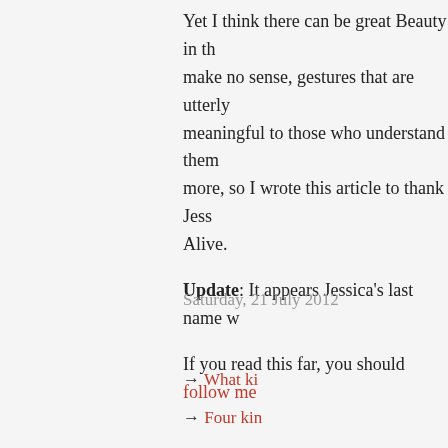Yet I think there can be great Beauty in th... make no sense, gestures that are utterly... meaningful to those who understand them... more, so I wrote this article to thank Jess... Alive.
Update: It appears Jessica's last name w...
If you read this far, you should follow me...
Saturday, 21 July 2012
→ What ki...
→ Four kin...